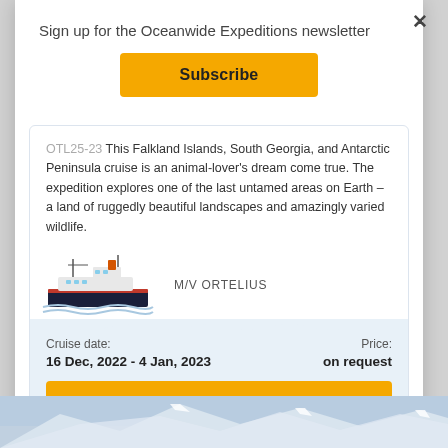Sign up for the Oceanwide Expeditions newsletter
Subscribe
OTL25-23 This Falkland Islands, South Georgia, and Antarctic Peninsula cruise is an animal-lover's dream come true. The expedition explores one of the last untamed areas on Earth – a land of ruggedly beautiful landscapes and amazingly varied wildlife.
[Figure (illustration): Illustration of M/V Ortelius ship with text label M/V ORTELIUS]
Cruise date: 16 Dec, 2022 - 4 Jan, 2023
Price: on request
Show cruise >
[Figure (photo): Partial photo of snowy mountains at bottom of page]